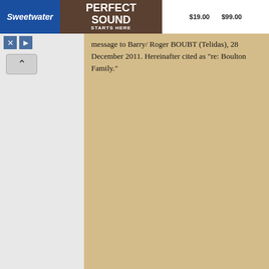[Figure (screenshot): Advertisement banner for Sweetwater showing drums image with 'PERFECT SOUND STARTS HERE' text and prices $19.00 and $99.00]
[Figure (screenshot): Navigation sidebar with close/play buttons and an up arrow]
message to Barry/ Roger BOUBT (Telidas), 28 December 2011. Hereinafter cited as "re: Boulton Family."